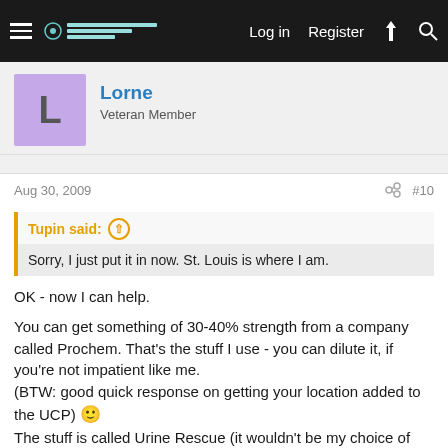Log in  Register
Lorne
Veteran Member
Aug 30, 2009   #10
Tupin said:
Sorry, I just put it in now. St. Louis is where I am.
OK - now I can help.

You can get something of 30-40% strength from a company called Prochem. That's the stuff I use - you can dilute it, if you're not impatient like me.
(BTW: good quick response on getting your location added to the UCP) 🙂
The stuff is called Urine Rescue (it wouldn't be my choice of names, but...)